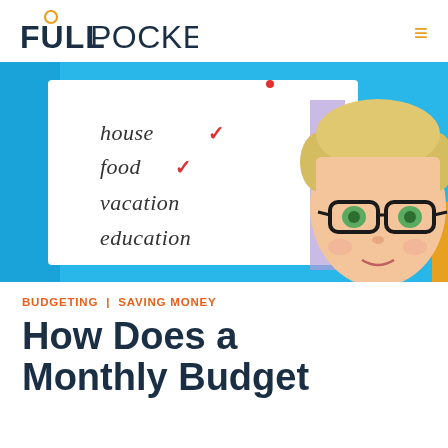FULLPOCKET
[Figure (illustration): Hero illustration showing a checklist with 'house ✓', 'food ✓', 'vacation', 'education' written in cursive on a white notepad against a blue background, alongside a cartoon avatar of a blonde person wearing black glasses.]
BUDGETING | SAVING MONEY
How Does a Monthly Budget